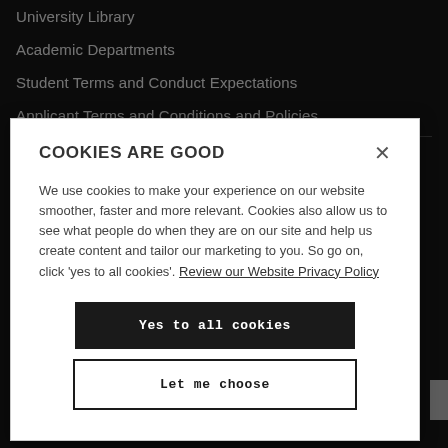University Library
Academic Departments
Student Terms and Conduct Expectations
Applicant Terms and Conditions and Policies
COOKIES ARE GOOD
We use cookies to make your experience on our website smoother, faster and more relevant. Cookies also allow us to see what people do when they are on our site and help us create content and tailor our marketing to you. So go on, click 'yes to all cookies'. Review our Website Privacy Policy
Yes to all cookies
Let me choose
Modern Slavery Statement